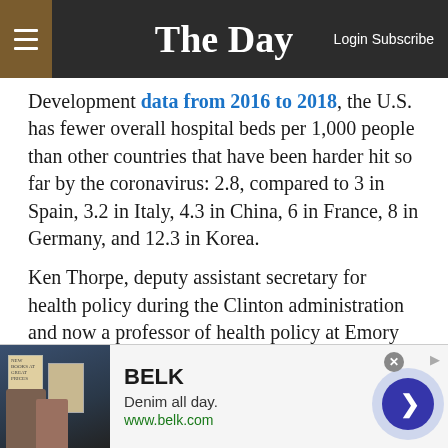The Day  Login Subscribe
Development data from 2016 to 2018, the U.S. has fewer overall hospital beds per 1,000 people than other countries that have been harder hit so far by the coronavirus: 2.8, compared to 3 in Spain, 3.2 in Italy, 4.3 in China, 6 in France, 8 in Germany, and 12.3 in Korea.
Ken Thorpe, deputy assistant secretary for health policy during the Clinton administration and now a professor of health policy at Emory University, told The Day on Saturday that innovation in medicine has meant more care being moved to the outpatient side, meaning there's been a dramatic reduction in hospital beds since the 1980s. He
[Figure (other): Advertisement banner for BELK showing 'Denim all day. www.belk.com' with product images and a navigation arrow button]